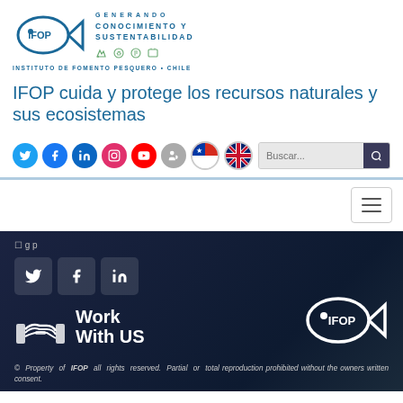[Figure (logo): IFOP logo with fish icon and text GENERANDO CONOCIMIENTO Y SUSTENTABILIDAD, INSTITUTO DE FOMENTO PESQUERO • CHILE]
IFOP cuida y protege los recursos naturales y sus ecosistemas
[Figure (screenshot): Social media icons row: Twitter, Facebook, LinkedIn, Instagram, YouTube, site icon, Chilean flag, UK flag. Search bar with magnifying glass icon.]
[Figure (screenshot): Hamburger menu button]
[Figure (screenshot): Dark footer with social media boxes (Twitter, Facebook, LinkedIn), Work With US icon with handshake, IFOP white logo]
© Property of IFOP all rights reserved. Partial or total reproduction prohibited without the owners written consent.